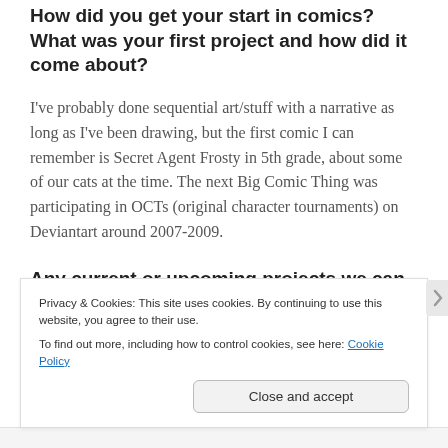How did you get your start in comics? What was your first project and how did it come about?
I've probably done sequential art/stuff with a narrative as long as I've been drawing, but the first comic I can remember is Secret Agent Frosty in 5th grade, about some of our cats at the time. The next Big Comic Thing was participating in OCTs (original character tournaments) on Deviantart around 2007-2009.
Any current or upcoming projects we can find you on?
Privacy & Cookies: This site uses cookies. By continuing to use this website, you agree to their use.
To find out more, including how to control cookies, see here: Cookie Policy